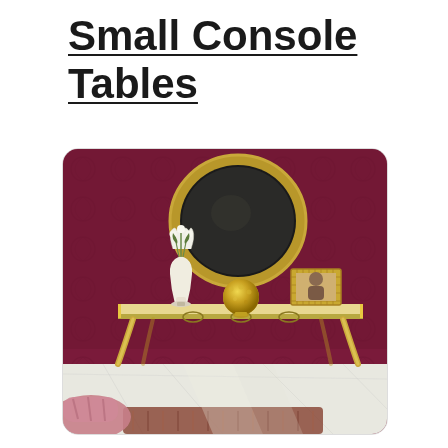Small Console Tables
[Figure (photo): An elegant gold and cream console table with curved legs placed against a deep burgundy patterned wallpaper. On top of the table sits a white flower vase, a gold decorative sphere, and a gold picture frame. Above the table on the wall is a large round mirror with a gold ornate frame. In the foreground is part of a pink velvet chair and a patterned floor rug. The floor is white marble.]